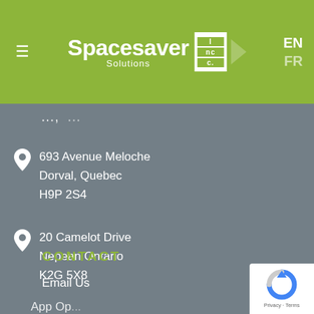Spacesaver Solutions Inc. — EN / FR
693 Avenue Meloche
Dorval, Quebec
H9P 2S4
20 Camelot Drive
Nepean Ontario
K2G 5X8
CONTACT
Email Us
App Options (truncated)